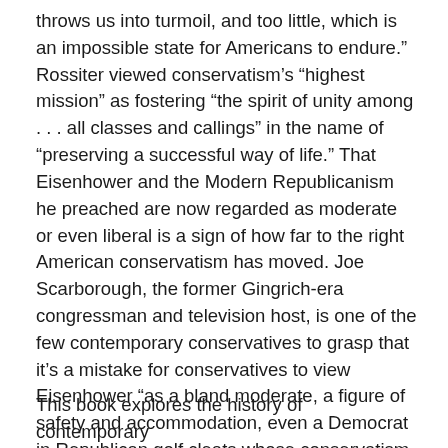throws us into turmoil, and too little, which is an impossible state for Americans to endure.” Rossiter viewed conservatism’s “highest mission” as fostering “the spirit of unity among . . . all classes and callings” in the name of “preserving a successful way of life.” That Eisenhower and the Modern Republicanism he preached are now regarded as moderate or even liberal is a sign of how far to the right American conservatism has moved. Joe Scarborough, the former Gingrich-era congressman and television host, is one of the few contemporary conservatives to grasp that it’s a mistake for conservatives to view Eisenhower “as a bland moderate, a figure of safety and accommodation, even a Democrat in Republican golf cleats whose conservatism could never equal that of Nixon or Reagan or George W. Bush.” On the contrary, Scarborough argues, Eisenhower “knew how to win elections and how to govern conservatively. . . . We should learn from his example.”
This book explores the history of contemporary conservatism and the reasons for its current...